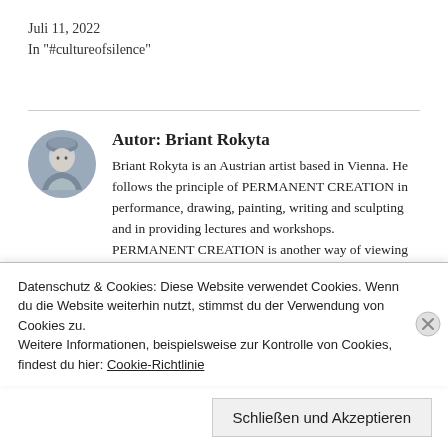Juli 11, 2022
In "#cultureofsilence"
Autor: Briant Rokyta
Briant Rokyta is an Austrian artist based in Vienna. He follows the principle of PERMANENT CREATION in performance, drawing, painting, writing and sculpting and in providing lectures and workshops. PERMANENT CREATION is another way of viewing the world. Not through the rational mind but through art, through
Datenschutz & Cookies: Diese Website verwendet Cookies. Wenn du die Website weiterhin nutzt, stimmst du der Verwendung von Cookies zu.
Weitere Informationen, beispielsweise zur Kontrolle von Cookies, findest du hier: Cookie-Richtlinie
Schließen und Akzeptieren